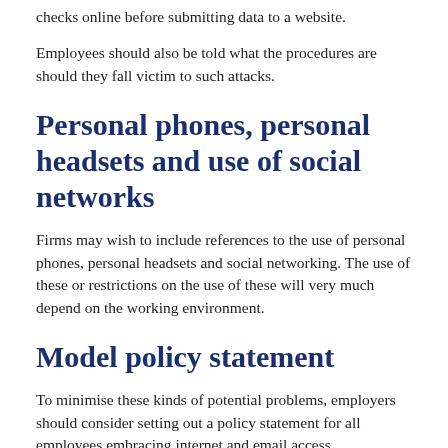checks online before submitting data to a website.
Employees should also be told what the procedures are should they fall victim to such attacks.
Personal phones, personal headsets and use of social networks
Firms may wish to include references to the use of personal phones, personal headsets and social networking. The use of these or restrictions on the use of these will very much depend on the working environment.
Model policy statement
To minimise these kinds of potential problems, employers should consider setting out a policy statement for all employees embracing internet and email access.
A suggested policy statement is shown below, which